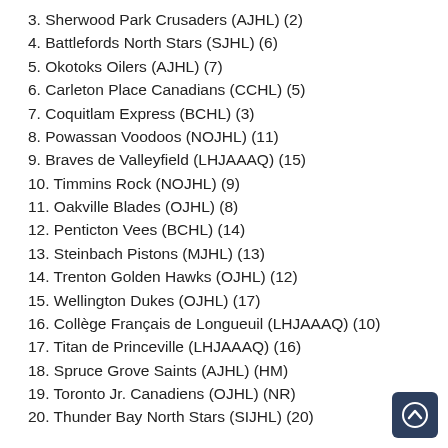3. Sherwood Park Crusaders (AJHL) (2)
4. Battlefords North Stars (SJHL) (6)
5. Okotoks Oilers (AJHL) (7)
6. Carleton Place Canadians (CCHL) (5)
7. Coquitlam Express (BCHL) (3)
8. Powassan Voodoos (NOJHL) (11)
9. Braves de Valleyfield (LHJAAAQ) (15)
10. Timmins Rock (NOJHL) (9)
11. Oakville Blades (OJHL) (8)
12. Penticton Vees (BCHL) (14)
13. Steinbach Pistons (MJHL) (13)
14. Trenton Golden Hawks (OJHL) (12)
15. Wellington Dukes (OJHL) (17)
16. Collège Français de Longueuil (LHJAAAQ) (10)
17. Titan de Princeville (LHJAAAQ) (16)
18. Spruce Grove Saints (AJHL) (HM)
19. Toronto Jr. Canadiens (OJHL) (NR)
20. Thunder Bay North Stars (SIJHL) (20)